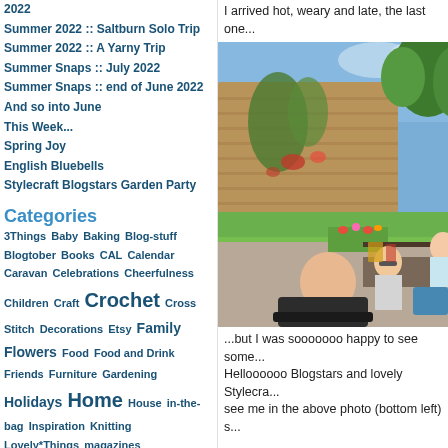2022
Summer 2022 :: Saltburn Solo Trip
Summer 2022 :: A Yarny Trip
Summer Snaps :: July 2022
Summer Snaps :: end of June 2022
And so into June
This Week...
Spring Joy
English Bluebells
Stylecraft Blogstars Garden Party
Categories
3Things Baby Baking Blog-stuff Blogtober Books CAL Calendar Caravan Celebrations Cheerfulness Children Craft Crochet Cross Stitch Decorations Etsy Family Flowers Food Food and Drink Friends Furniture Gardening Holidays Home House in-the-bag Inspiration Knitting Lovely*Things magazines
I arrived hot, weary and late, the last one...
[Figure (photo): Outdoor garden party scene with people seated at tables near a stone wall covered in vines, with flowers and green lawn in the background. Several women are visible, one in the foreground wearing sunglasses smiling at the camera.]
...but I was sooooooo happy to see some... Helloooooo Blogstars and lovely Stylecra... see me in the above photo (bottom left) s...